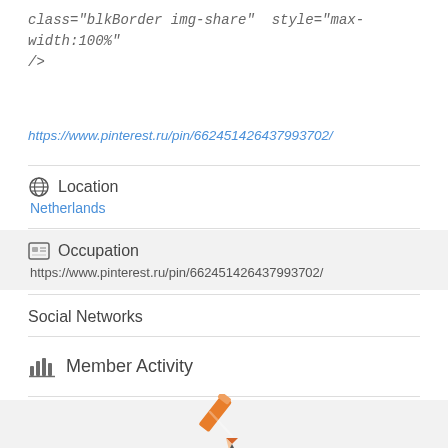class="blkBorder img-share" style="max-width:100%" />
https://www.pinterest.ru/pin/662451426437993702/
🌐  Location
Netherlands
🪪  Occupation
https://www.pinterest.ru/pin/662451426437993702/
Social Networks
📊  Member Activity